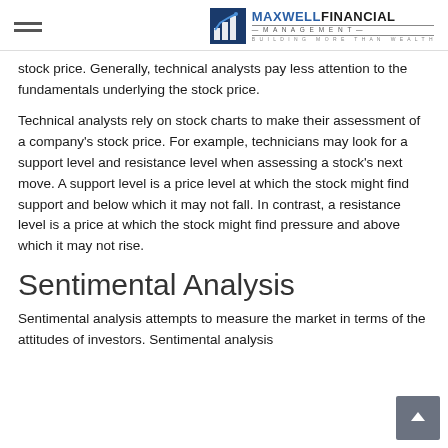Maxwell Financial Management — Building More Than Wealth
stock price. Generally, technical analysts pay less attention to the fundamentals underlying the stock price.
Technical analysts rely on stock charts to make their assessment of a company's stock price. For example, technicians may look for a support level and resistance level when assessing a stock's next move. A support level is a price level at which the stock might find support and below which it may not fall. In contrast, a resistance level is a price at which the stock might find pressure and above which it may not rise.
Sentimental Analysis
Sentimental analysis attempts to measure the market in terms of the attitudes of investors. Sentimental analysis